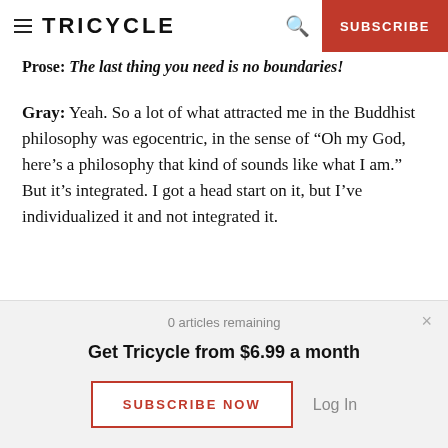TRICYCLE | SUBSCRIBE
Prose: The last thing you need is no boundaries!
Gray: Yeah. So a lot of what attracted me in the Buddhist philosophy was egocentric, in the sense of "Oh my God, here's a philosophy that kind of sounds like what I am." But it's integrated. I got a head start on it, but I've individualized it and not integrated it.
In other words, I'm having boundary problems with
0 articles remaining
Get Tricycle from $6.99 a month
SUBSCRIBE NOW
Log In